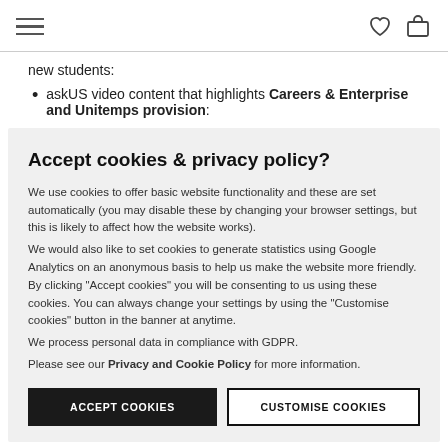Navigation bar with hamburger menu and icons
new students:
askUS video content that highlights Careers & Enterprise and Unitemps provision:
Accept cookies & privacy policy?
We use cookies to offer basic website functionality and these are set automatically (you may disable these by changing your browser settings, but this is likely to affect how the website works).
We would also like to set cookies to generate statistics using Google Analytics on an anonymous basis to help us make the website more friendly. By clicking "Accept cookies" you will be consenting to us using these cookies. You can always change your settings by using the "Customise cookies" button in the banner at anytime.
We process personal data in compliance with GDPR.
Please see our Privacy and Cookie Policy for more information.
ACCEPT COOKIES
CUSTOMISE COOKIES